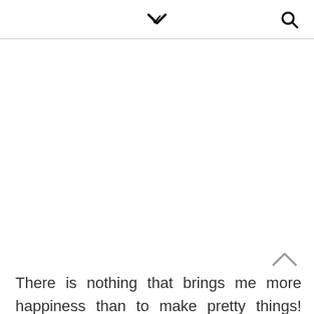∨  🔍
There is nothing that brings me more happiness than to make pretty things! Whether